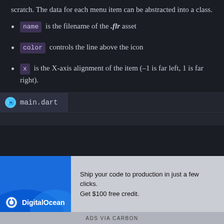scratch. The data for each menu item can be abstracted into a class.
name is the filename of the .flr asset
color controls the line above the icon
x is the X-axis alignment of the item (-1 is far left, 1 is far right).
[Figure (screenshot): File tab showing main.dart with Dart logo icon]
Ship your code to production in just a few clicks. Get $100 free credit.
ADS VIA CARBON